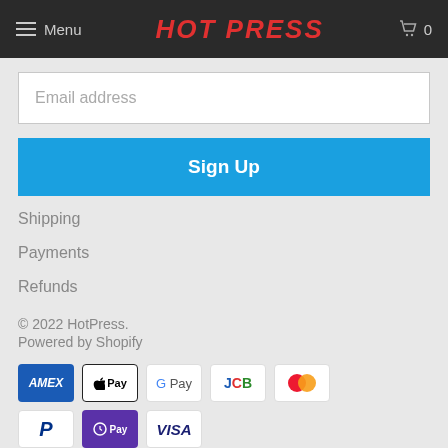Menu | HOT PRESS | Cart 0
Email address
Sign Up
Shipping
Payments
Refunds
© 2022 HotPress.
Powered by Shopify
[Figure (other): Payment method icons: American Express (AMEX), Apple Pay, Google Pay, JCB, Mastercard, PayPal, Shop Pay, Visa]